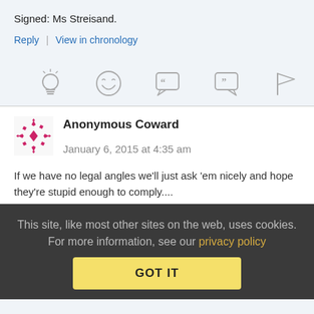Signed: Ms Streisand.
Reply | View in chronology
[Figure (other): Row of 5 icon buttons: lightbulb, laughing emoji, left-quote speech bubble, right-quote speech bubble, flag]
Anonymous Coward   January 6, 2015 at 4:35 am
If we have no legal angles we'll just ask 'em nicely and hope they're stupid enough to comply....
This site, like most other sites on the web, uses cookies. For more information, see our privacy policy
GOT IT